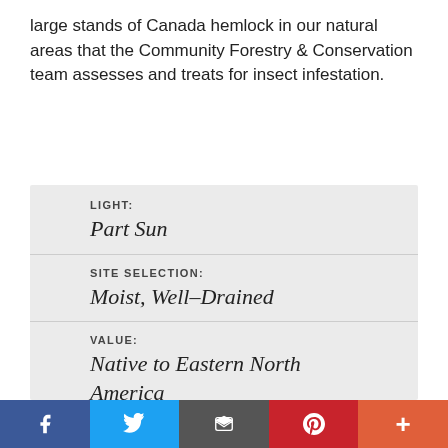large stands of Canada hemlock in our natural areas that the Community Forestry & Conservation team assesses and treats for insect infestation.
| Field | Value |
| --- | --- |
| LIGHT: | Part Sun |
| SITE SELECTION: | Moist, Well–Drained |
| VALUE: | Native to Eastern North America |
| FORM: | Conical to Broadly Conical |
Social share bar: Facebook, Twitter, Email, Pinterest, More